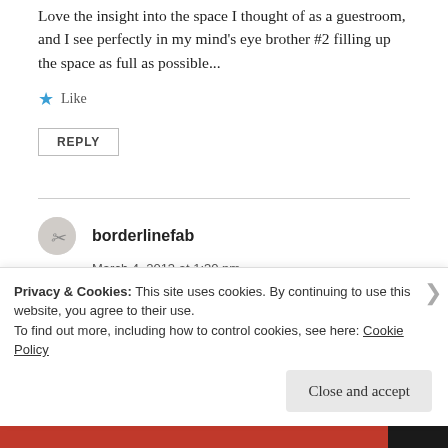Love the insight into the space I thought of as a guestroom, and I see perfectly in my mind's eye brother #2 filling up the space as full as possible...
★ Like
REPLY
borderlinefab
March 4, 2013 at 1:30 pm
So beautifully written! Congratulations on being
Privacy & Cookies: This site uses cookies. By continuing to use this website, you agree to their use.
To find out more, including how to control cookies, see here: Cookie Policy
Close and accept